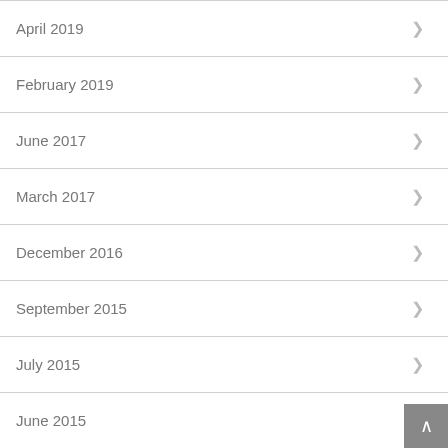April 2019
February 2019
June 2017
March 2017
December 2016
September 2015
July 2015
June 2015